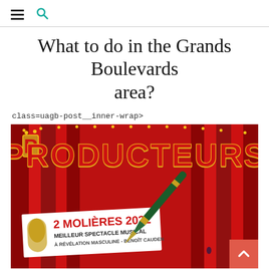≡ 🔍
What to do in the Grands Boulevards area?
class=uagb-post__inner-wrap>
[Figure (photo): Promotional poster for 'Les Producteurs' musical show, featuring large marquee-style letters PRODUCTEURS on a red curtain background, with a banner reading '2 MOLIÈRES 2022 MEILLEUR SPECTACLE MUSICAL À RÉVÉLATION MASCULINE - BENOÎT CAUDEN' and a green fountain pen falling in the foreground.]